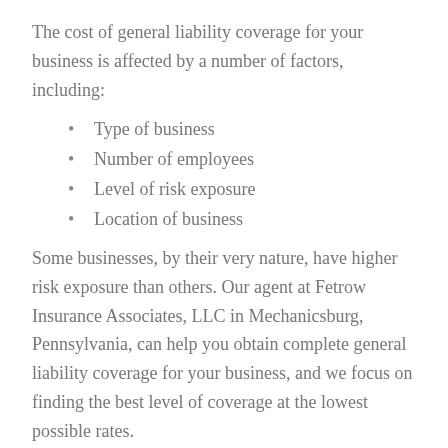The cost of general liability coverage for your business is affected by a number of factors, including:
Type of business
Number of employees
Level of risk exposure
Location of business
Some businesses, by their very nature, have higher risk exposure than others. Our agent at Fetrow Insurance Associates, LLC in Mechanicsburg, Pennsylvania, can help you obtain complete general liability coverage for your business, and we focus on finding the best level of coverage at the lowest possible rates.